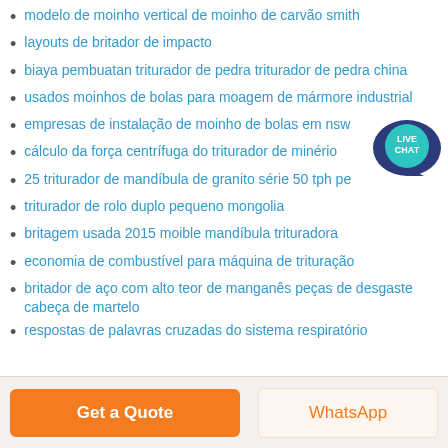modelo de moinho vertical de moinho de carvão smith
layouts de britador de impacto
biaya pembuatan triturador de pedra triturador de pedra china
usados moinhos de bolas para moagem de mármore industrial
empresas de instalação de moinho de bolas em nsw
cálculo da força centrífuga do triturador de minério
25 triturador de mandíbula de granito série 50 tph pe
triturador de rolo duplo pequeno mongolia
britagem usada 2015 moible mandíbula trituradora
economia de combustível para máquina de trituração
britador de aço com alto teor de manganês peças de desgaste cabeça de martelo
respostas de palavras cruzadas do sistema respiratório
[Figure (illustration): Live Chat bubble/widget icon in teal/dark blue with speech bubble and 'LIVE CHAT' text]
Get a Quote | WhatsApp